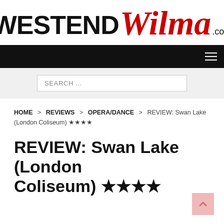[Figure (logo): West End Wilma logo — 'WESTEND' in bold black uppercase sans-serif and 'Wilma' in red italic script, followed by '.com' in black]
[Figure (screenshot): Black navigation bar with hamburger menu icon on the right]
[Figure (screenshot): Search bar with placeholder text 'SEARCH ...' on a light grey background]
HOME > REVIEWS > OPERA/DANCE > REVIEW: Swan Lake (London Coliseum) ★★★★
REVIEW: Swan Lake (London Coliseum) ★★★★